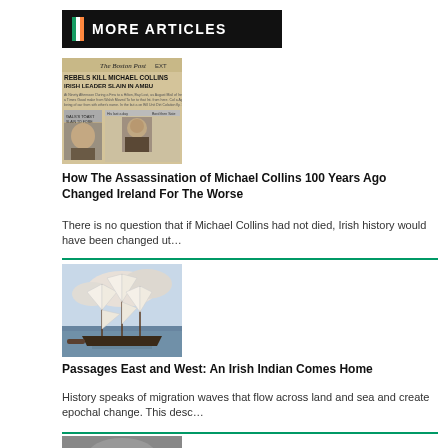MORE ARTICLES
[Figure (photo): Newspaper front page of The Boston Post with headline 'REBELS KILL MICHAEL COLLINS IRISH LEADER SLAIN IN AMBUSH' with photograph of Michael Collins]
How The Assassination of Michael Collins 100 Years Ago Changed Ireland For The Worse
There is no question that if Michael Collins had not died, Irish history would have been changed ut…
[Figure (photo): Painting of a tall sailing ship with multiple masts and white sails on the sea]
Passages East and West: An Irish Indian Comes Home
History speaks of migration waves that flow across land and sea and create epochal change. This desc…
[Figure (photo): Portrait photograph of a person, partially visible at bottom of page]